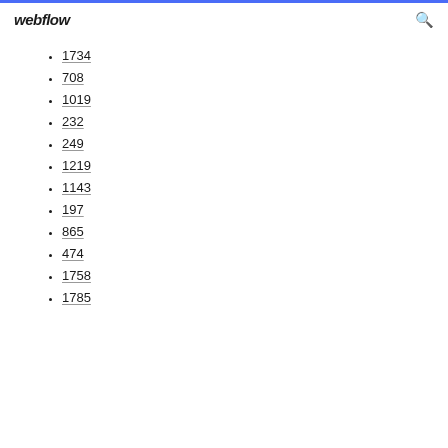webflow
1734
708
1019
232
249
1219
1143
197
865
474
1758
1785